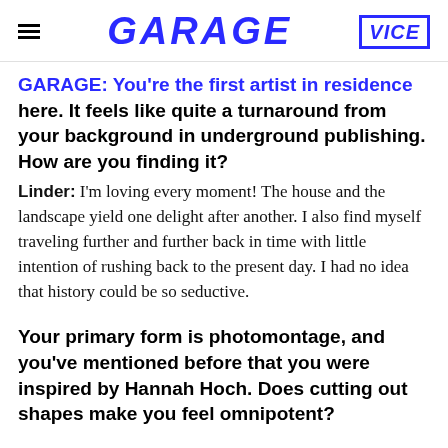GARAGE | VICE
GARAGE: You're the first artist in residence here. It feels like quite a turnaround from your background in underground publishing. How are you finding it?
Linder: I'm loving every moment! The house and the landscape yield one delight after another. I also find myself traveling further and further back in time with little intention of rushing back to the present day. I had no idea that history could be so seductive.
Your primary form is photomontage, and you've mentioned before that you were inspired by Hannah Hoch. Does cutting out shapes make you feel omnipotent?